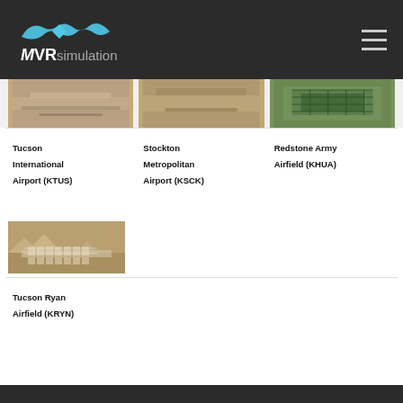MVRsimulation
[Figure (photo): Aerial simulation view of Tucson International Airport (KTUS) - partial view at top of page]
[Figure (photo): Aerial simulation view of Stockton Metropolitan Airport (KSCK) - partial view at top of page]
[Figure (photo): Aerial simulation view of Redstone Army Airfield (KHUA) - partial view at top of page]
Tucson International Airport (KTUS)
Stockton Metropolitan Airport (KSCK)
Redstone Army Airfield (KHUA)
[Figure (photo): Aerial simulation view of Tucson Ryan Airfield (KRYN) showing desert terrain with airfield structures]
Tucson Ryan Airfield (KRYN)